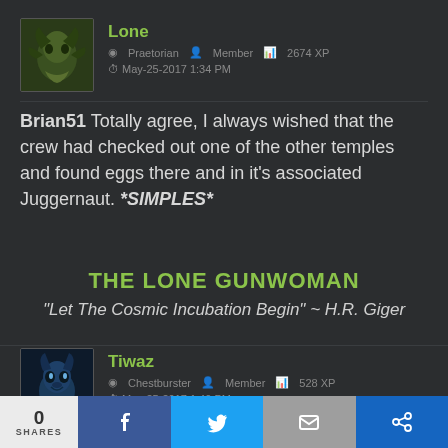[Figure (screenshot): Forum post from user 'Lone' with avatar showing alien creature in green/brown tones. User metadata: Praetorian rank, Member, 2674 XP, posted May-25-2017 1:34 PM]
Brian51 Totally agree, I always wished that the crew had checked out one of the other temples and found eggs there and in it's associated Juggernaut. *SIMPLES*
THE LONE GUNWOMAN
"Let The Cosmic Incubation Begin" ~ H.R. Giger
[Figure (screenshot): Forum post from user 'Tiwaz' with avatar showing blue wolf/dog creature. User metadata: Chestburster rank, Member, 528 XP, posted May-25-2017 1:40 PM]
0 SHARES | Facebook | Twitter | Email | Share